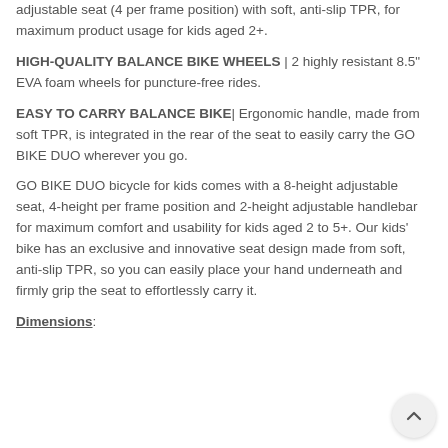adjustable seat (4 per frame position) with soft, anti-slip TPR, for maximum product usage for kids aged 2+.
HIGH-QUALITY BALANCE BIKE WHEELS | 2 highly resistant 8.5" EVA foam wheels for puncture-free rides.
EASY TO CARRY BALANCE BIKE| Ergonomic handle, made from soft TPR, is integrated in the rear of the seat to easily carry the GO BIKE DUO wherever you go.
GO BIKE DUO bicycle for kids comes with a 8-height adjustable seat, 4-height per frame position and 2-height adjustable handlebar for maximum comfort and usability for kids aged 2 to 5+. Our kids' bike has an exclusive and innovative seat design made from soft, anti-slip TPR, so you can easily place your hand underneath and firmly grip the seat to effortlessly carry it.
Dimensions: